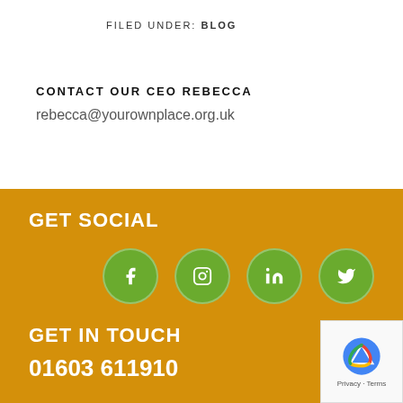FILED UNDER: BLOG
CONTACT OUR CEO REBECCA
rebecca@yourownplace.org.uk
GET SOCIAL
[Figure (illustration): Four green circular social media icons: Facebook (f), Instagram (camera), LinkedIn (in), Twitter (bird)]
GET IN TOUCH
01603 611910